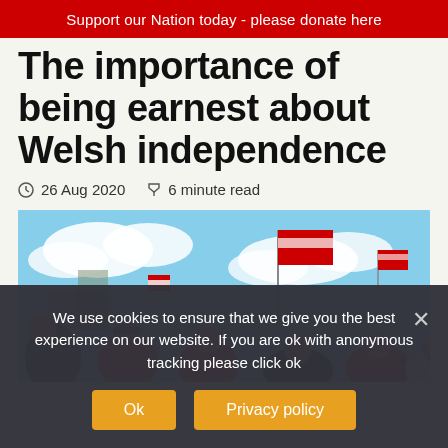Support our Nation today - please donate here
The importance of being earnest about Welsh independence
26 Aug 2020   6 minute read
[Figure (photo): Crowd of people at a Welsh independence rally, carrying Welsh dragon flags and wearing red, with blue sky and clouds in the background.]
We use cookies to ensure that we give you the best experience on our website. If you are ok with anonymous tracking please click ok